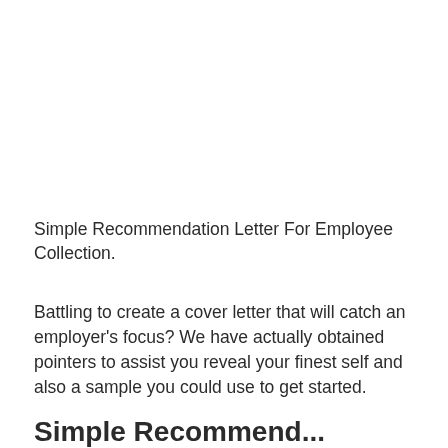Simple Recommendation Letter For Employee Collection.
Battling to create a cover letter that will catch an employer's focus? We have actually obtained pointers to assist you reveal your finest self and also a sample you could use to get started.
Simple Recommendation...